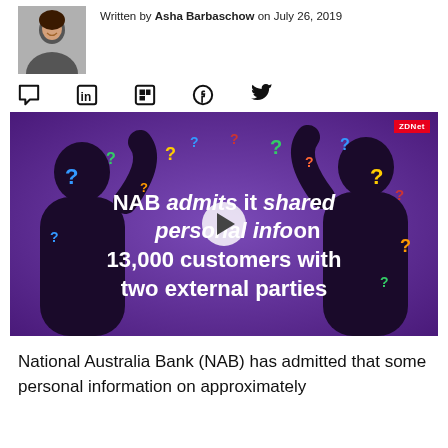[Figure (photo): Author photo of Asha Barbaschow, a woman smiling, appears in top left corner]
Written by Asha Barbaschow on July 26, 2019
[Figure (infographic): Social media sharing icons: comment bubble, LinkedIn, Flipboard, Facebook, Twitter]
[Figure (screenshot): Video thumbnail with purple background showing silhouettes of two people with question marks. Text reads: NAB admits it shared personal info on 13,000 customers with two external parties. ZDNet logo in top right corner. Play button in center.]
National Australia Bank (NAB) has admitted that some personal information on approximately